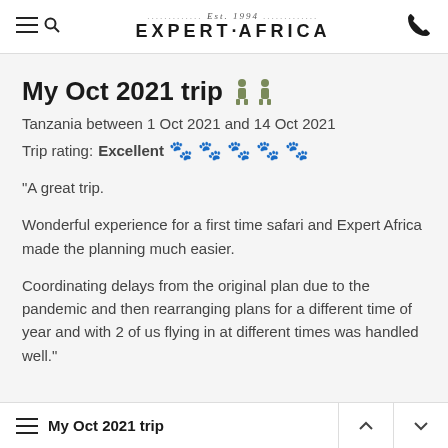Expert Africa — Est. 1994
My Oct 2021 trip
Tanzania between 1 Oct 2021 and 14 Oct 2021
Trip rating: Excellent (2 out of 5 paws shown filled)
"A great trip.

Wonderful experience for a first time safari and Expert Africa made the planning much easier.

Coordinating delays from the original plan due to the pandemic and then rearranging plans for a different time of year and with 2 of us flying in at different times was handled well."
My Oct 2021 trip